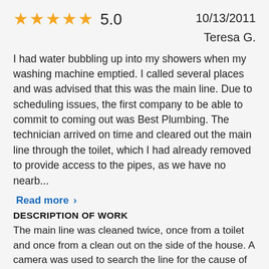★★★★★ 5.0
10/13/2011
Teresa G.
I had water bubbling up into my showers when my washing machine emptied. I called several places and was advised that this was the main line. Due to scheduling issues, the first company to be able to commit to coming out was Best Plumbing. The technician arrived on time and cleared out the main line through the toilet, which I had already removed to provide access to the pipes, as we have no nearb...
Read more >
DESCRIPTION OF WORK
The main line was cleaned twice, once from a toilet and once from a clean out on the side of the house. A camera was used to search the line for the cause of the clog and tree roots were found. We have a very steep roof so there is no access from the vent stack. We also do not have a large clean out in the ground as